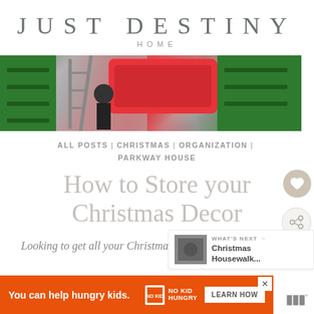JUST DESTINY
HOME
[Figure (photo): Hero image of a person on a ladder holding a red storage bin, with green shelving/containers in the background]
ALL POSTS | CHRISTMAS | ORGANIZATION | PARKWAY HOUSE
How to Store your Christmas Decor
Looking to get all your Christmas
[Figure (other): What's Next widget showing Christmas Housewalk... article thumbnail]
[Figure (other): Advertisement banner: You can help hungry kids. No Kid Hungry. LEARN HOW]